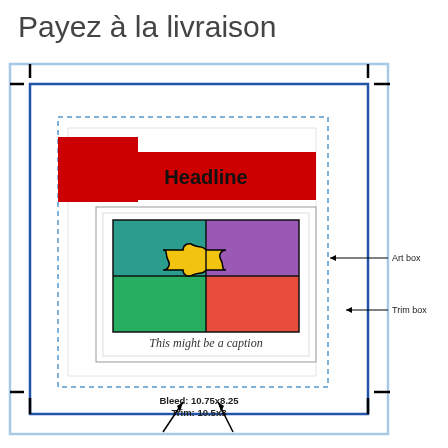Payez à la livraison
[Figure (schematic): Print layout diagram showing nested boxes: bleed box (light blue border), trim box (dark blue border), art box (dashed blue border), with a sample page inside containing a red headline banner with 'Headline', a framed image of four puzzle pieces in teal, purple, green, red with a yellow center piece, a caption 'This might be a caption', crop marks at corners, and annotations pointing to 'Art box' and 'Trim box' on the right side. Bottom text shows 'Bleed: 10.75x8.25' and 'Trim: 10.5x8'.]